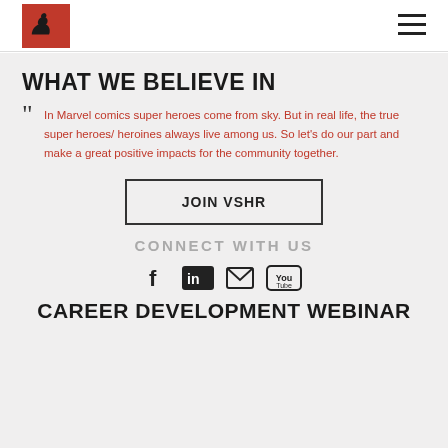VSHR logo and navigation menu
WHAT WE BELIEVE IN
In Marvel comics super heroes come from sky. But in real life, the true super heroes/ heroines always live among us. So let's do our part and make a great positive impacts for the community together.
JOIN VSHR
CONNECT WITH US
[Figure (infographic): Social media icons: Facebook, LinkedIn, Email, YouTube]
CAREER DEVELOPMENT WEBINAR